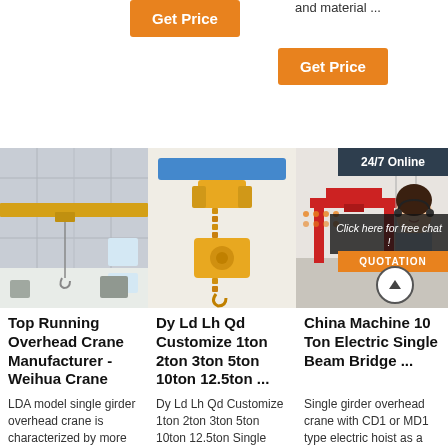and material ...
[Figure (screenshot): Orange 'Get Price' button (top center)]
[Figure (screenshot): Orange 'Get Price' button (top right)]
[Figure (photo): Top Running Overhead Crane interior photo with yellow beam]
[Figure (photo): Yellow chain electric hoist with blue beam]
[Figure (photo): Red single girder gantry crane with 24/7 Online chat overlay and customer service representative]
Top Running Overhead Crane Manufacturer - Weihua Crane
LDA model single girder overhead crane is characterized by more reasonable structure, strong
Dy Ld Lh Qd Customize 1ton 2ton 3ton 5ton 10ton 12.5ton ...
Dy Ld Lh Qd Customize 1ton 2ton 3ton 5ton 10ton 12.5ton Single Double Girder Overhead Crane,
China Machine 10 Ton Electric Single Beam Bridge ...
Single girder overhead crane with CD1 or MD1 type electric hoist as a complete set. It is a light duty crane with